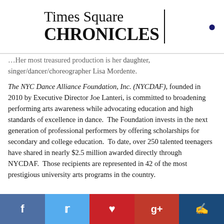Times Square CHRONICLES
...Her most treasured production is her daughter, singer/dancer/choreographer Lisa Mordente.
The NYC Dance Alliance Foundation, Inc. (NYCDAF), founded in 2010 by Executive Director Joe Lanteri, is committed to broadening performing arts awareness while advocating education and high standards of excellence in dance.  The Foundation invests in the next generation of professional performers by offering scholarships for secondary and college education.  To date, over 250 talented teenagers have shared in nearly $2.5 million awarded directly through NYCDAF.  Those recipients are represented in 42 of the most prestigious university arts programs in the country.
f  t  p  g+  comment